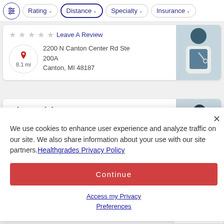Rating | Distance | Specialty | Insurance (filter bar)
Leave A Review
2200 N Canton Center Rd Ste 200A
Canton, MI 48187
8.1 mi
Ting Chi, RAC
Acupuncture
Leave A Review
We use cookies to enhance user experience and analyze traffic on our site. We also share information about your use with our site partners. Healthgrades Privacy Policy
Continue
Access my Privacy Preferences
8.6 mi  Near, MI 4837